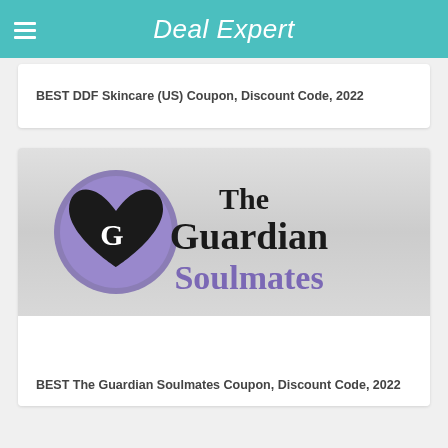Deal Expert
BEST DDF Skincare (US) Coupon, Discount Code, 2022
[Figure (logo): The Guardian Soulmates logo: a purple circle with a heart and G letter, next to bold text reading 'The Guardian' and purple text 'Soulmates']
BEST The Guardian Soulmates Coupon, Discount Code, 2022